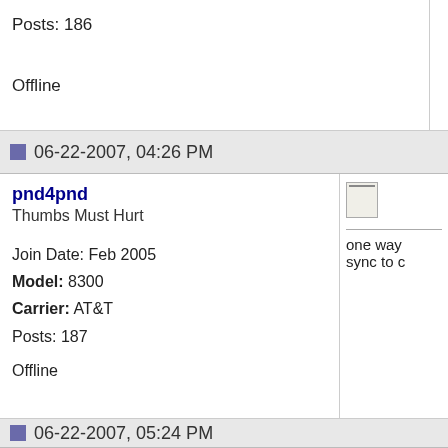Posts: 186

Offline
06-22-2007, 04:26 PM
pnd4pnd
Thumbs Must Hurt
Join Date: Feb 2005
Model: 8300
Carrier: AT&T
Posts: 187

Offline
one way
sync to c
06-22-2007, 05:24 PM
Klotar
CrackBerry Addict
[Figure (logo): BlackBerry logo - dark blue background with 3x3 grid of rounded keys and 'BlackBerry' text in italic]
I think th

If you go
Options,
"Address